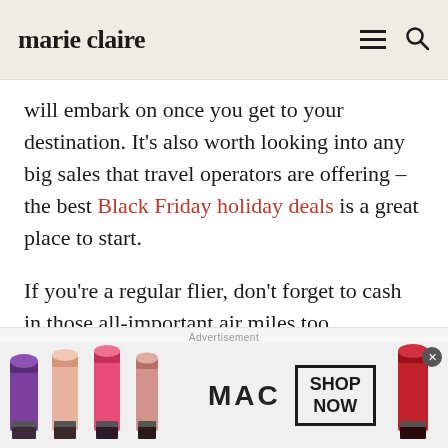marie claire
will embark on once you get to your destination. It’s also worth looking into any big sales that travel operators are offering – the best Black Friday holiday deals is a great place to start.
If you’re a regular flier, don’t forget to cash in those all-important air miles too.
[Figure (other): MAC cosmetics advertisement banner showing lipsticks in purple, pink, and red colors with MAC logo and SHOP NOW button]